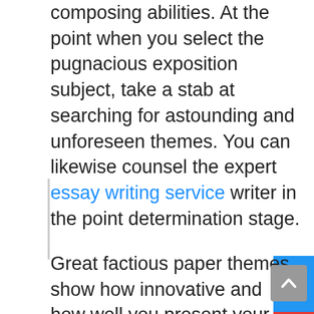composing abilities. At the point when you select the pugnacious exposition subject, take a stab at searching for astounding and unforeseen themes. You can likewise counsel the expert essay writing service writer in the point determination stage.
A factious exposition theme ought to be intriguing, so you can undoubtedly fabricate your contention. Begin investigating the subject and pick the best one for your article.
Great factious paper themes show how innovative and how well you present your contention. At the point when you have an extraordinary contentious article theme, you don't have to stress over how I compose my